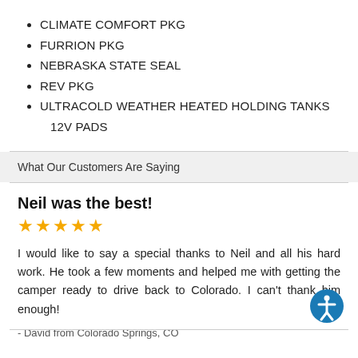CLIMATE COMFORT PKG
FURRION PKG
NEBRASKA STATE SEAL
REV PKG
ULTRACOLD WEATHER HEATED HOLDING TANKS 12V PADS
What Our Customers Are Saying
Neil was the best!
I would like to say a special thanks to Neil and all his hard work. He took a few moments and helped me with getting the camper ready to drive back to Colorado. I can't thank him enough!
- David from Colorado Springs, CO